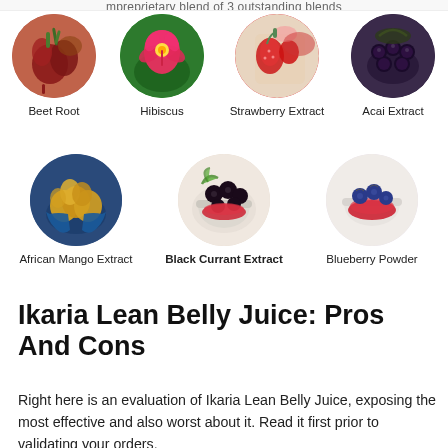[Figure (illustration): Row of four circular ingredient images: Beet Root, Hibiscus, Strawberry Extract, Acai Extract with labels below each]
[Figure (illustration): Row of three circular ingredient images: African Mango Extract, Black Currant Extract, Blueberry Powder with labels below each]
Ikaria Lean Belly Juice: Pros And Cons
Right here is an evaluation of Ikaria Lean Belly Juice, exposing the most effective and also worst about it. Read it first prior to validating your orders.